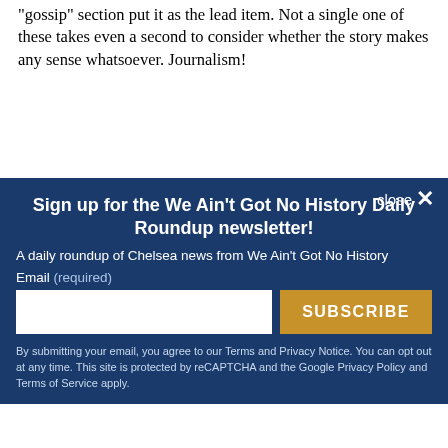"gossip" section put it as the lead item. Not a single one of these takes even a second to consider whether the story makes any sense whatsoever. Journalism!
close ×
Sign up for the We Ain't Got No History Daily Roundup newsletter!
A daily roundup of Chelsea news from We Ain't Got No History
Email (required)
SUBSCRIBE
By submitting your email, you agree to our Terms and Privacy Notice. You can opt out at any time. This site is protected by reCAPTCHA and the Google Privacy Policy and Terms of Service apply.